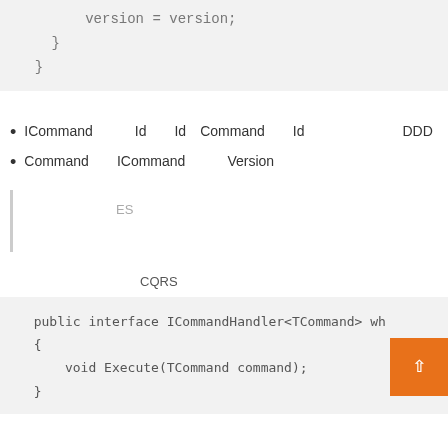version = version;
    }
}
ICommand　　　Id　　　Id　　Command　　　Id　　　　　　　　DDD
Command　　　ICommand　　　　Version
ES
CQRS
public interface ICommandHandler<TCommand> wh
{
    void Execute(TCommand command);
}